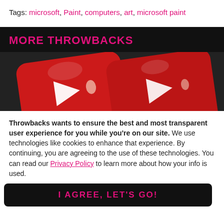Tags: microsoft, Paint, computers, art, microsoft paint
MORE THROWBACKS
[Figure (photo): 3D render of a red YouTube play button logo on a dark background]
Throwbacks wants to ensure the best and most transparent user experience for you while you're on our site. We use technologies like cookies to enhance that experience. By continuing, you are agreeing to the use of these technologies. You can read our Privacy Policy to learn more about how your info is used.
I AGREE, LET'S GO!